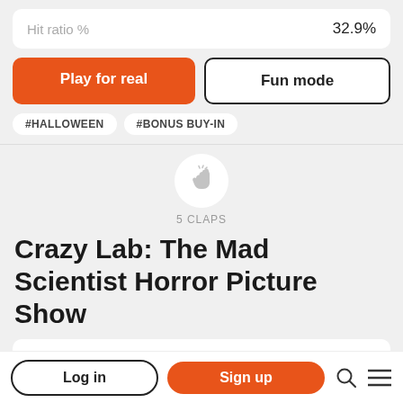Hit ratio %   32.9%
Play for real
Fun mode
#HALLOWEEN
#BONUS BUY-IN
5 CLAPS
Crazy Lab: The Mad Scientist Horror Picture Show
You're driving to meet your old college professor under a heavy storm when suddenly your car ominously stops. You come out to check
Log in
Sign up